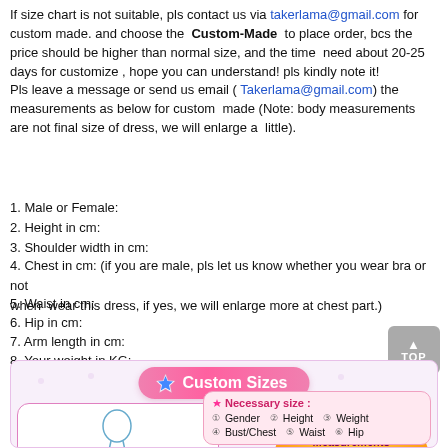If size chart is not suitable, pls contact us via takerlama@gmail.com for custom made. and choose the Custom-Made to place order, bcs the price should be higher than normal size, and the time need about 20-25 days for customize , hope you can understand! pls kindly note it!
Pls leave a message or send us email ( Takerlama@gmail.com) the measurements as below for custom made (Note: body measurements are not final size of dress, we will enlarge a little).
1. Male or Female:
2. Height in cm:
3. Shoulder width in cm:
4. Chest in cm: (if you are male, pls let us know whether you wear bra or not when wear this dress, if yes, we will enlarge more at chest part.)
5. Waist in cm:
6. Hip in cm:
7. Arm length in cm:
8. Your weight in KG:
[Figure (infographic): Custom Sizes infographic showing a body measurement diagram with labels for Shoulder Width, Bust/Chest, Waist, Hip, Sleeve Length, and a decorative oval stating Measurements are only accepted for Custom Made Size, plus a Necessary size box listing Gender, Height, Weight, Bust/Chest, Waist, Hip with circled numbers.]